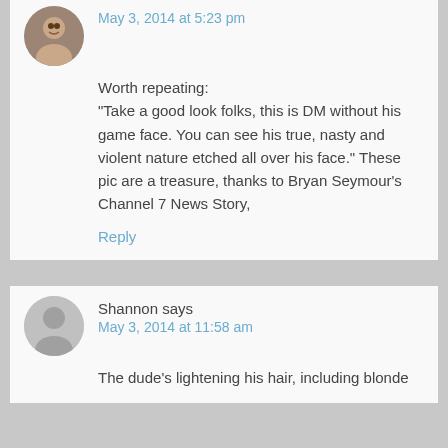May 3, 2014 at 5:23 pm
Worth repeating:
“Take a good look folks, this is DM without his game face. You can see his true, nasty and violent nature etched all over his face.” These pic are a treasure, thanks to Bryan Seymour’s Channel 7 News Story,
Reply
Shannon says
May 3, 2014 at 11:58 am
The dude’s lightening his hair, including blonde